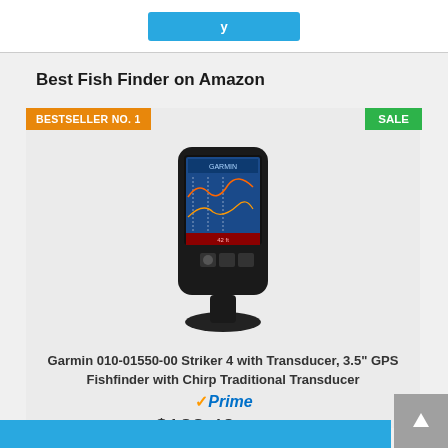[Figure (screenshot): Top navigation bar with blue button]
Best Fish Finder on Amazon
BESTSELLER NO. 1
SALE
[Figure (photo): Garmin Striker 4 fish finder device with color display showing sonar readings, mounted on a base]
Garmin 010-01550-00 Striker 4 with Transducer, 3.5" GPS Fishfinder with Chirp Traditional Transducer
Prime
$123.40